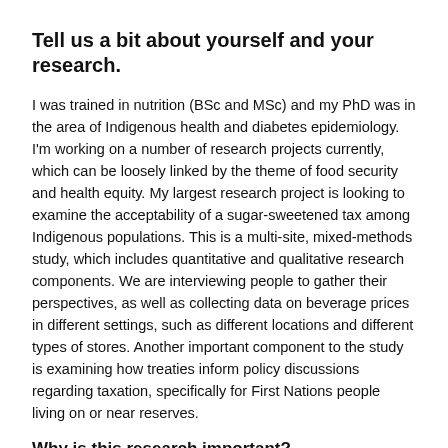Tell us a bit about yourself and your research.
I was trained in nutrition (BSc and MSc) and my PhD was in the area of Indigenous health and diabetes epidemiology. I'm working on a number of research projects currently, which can be loosely linked by the theme of food security and health equity. My largest research project is looking to examine the acceptability of a sugar-sweetened tax among Indigenous populations. This is a multi-site, mixed-methods study, which includes quantitative and qualitative research components. We are interviewing people to gather their perspectives, as well as collecting data on beverage prices in different settings, such as different locations and different types of stores. Another important component to the study is examining how treaties inform policy discussions regarding taxation, specifically for First Nations people living on or near reserves.
Why is this research important?